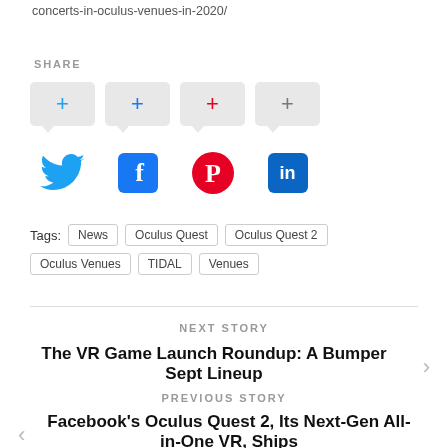concerts-in-oculus-venues-in-2020/
SHARE
[Figure (infographic): Four share buttons with plus icons (Twitter, Facebook, Pinterest, LinkedIn) with speech bubble tails, and below them four social media icons (Twitter bird, Facebook f, Pinterest P, LinkedIn in)]
Tags: News  Oculus Quest  Oculus Quest 2  Oculus Venues  TIDAL  Venues
NEXT STORY
The VR Game Launch Roundup: A Bumper Sept Lineup
PREVIOUS STORY
Facebook's Oculus Quest 2, Its Next-Gen All-in-One VR, Ships